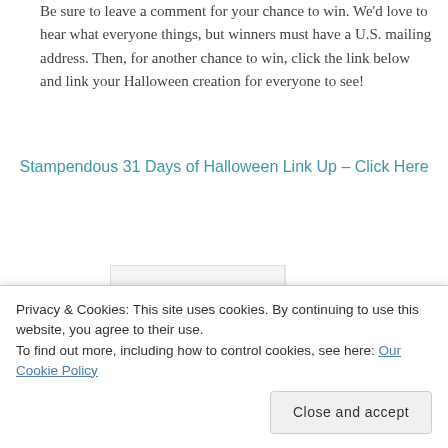Be sure to leave a comment for your chance to win. We'd love to hear what everyone things, but winners must have a U.S. mailing address. Then, for another chance to win, click the link below and link your Halloween creation for everyone to see!
Stampendous 31 Days of Halloween Link Up – Click Here
[Figure (logo): Stamp logo with colorful letters spelling STAMP and a cartoon ghost character on the right side]
Privacy & Cookies: This site uses cookies. By continuing to use this website, you agree to their use. To find out more, including how to control cookies, see here: Our Cookie Policy